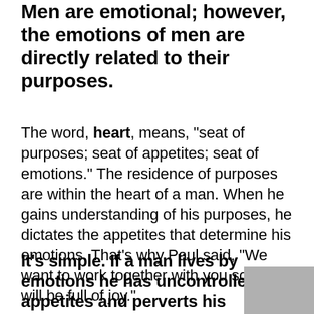Men are emotional; however, the emotions of men are directly related to their purposes.
The word, heart, means, “seat of purposes; seat of appetites; seat of emotions.” The residence of purposes are within the heart of a man. When he gains understanding of his purposes, he dictates the appetites that determine his emotions. That’s why Paul said, “We want to work together with you so you will be full of joy.”
It’s simple. If a man lives by emotions he has uncontrolled appetites and perverts his purpose.